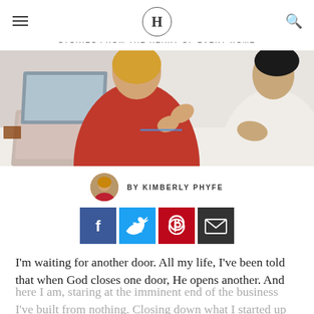H — STORIES FROM THE HEART OF EVERY HOME
[Figure (photo): Two women sitting at a desk with a laptop, one in a red sweater gesturing with hands, one in a white blouse with hands clasped]
BY KIMBERLY PHYFE
[Figure (infographic): Social share buttons: Facebook (blue), Twitter (light blue), Pinterest (red), Email (dark/black)]
I'm waiting for another door. All my life, I've been told that when God closes one door, He opens another. And here I am, staring at the imminent end of the business I've built from nothing. Closing down what I started up